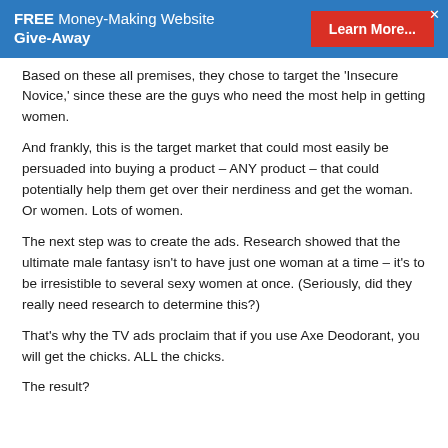FREE Money-Making Website Give-Away   Learn More...
Based on these all premises, they chose to target the 'Insecure Novice,' since these are the guys who need the most help in getting women.
And frankly, this is the target market that could most easily be persuaded into buying a product – ANY product – that could potentially help them get over their nerdiness and get the woman. Or women. Lots of women.
The next step was to create the ads. Research showed that the ultimate male fantasy isn't to have just one woman at a time – it's to be irresistible to several sexy women at once. (Seriously, did they really need research to determine this?)
That's why the TV ads proclaim that if you use Axe Deodorant, you will get the chicks. ALL the chicks.
The result?